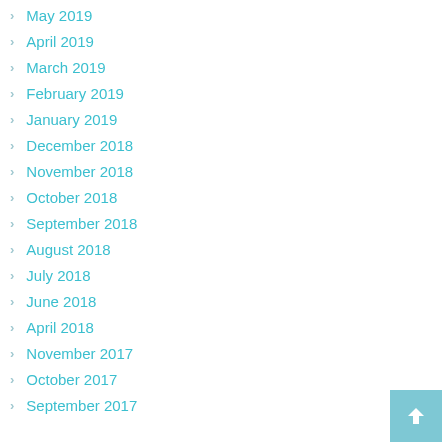May 2019
April 2019
March 2019
February 2019
January 2019
December 2018
November 2018
October 2018
September 2018
August 2018
July 2018
June 2018
April 2018
November 2017
October 2017
September 2017